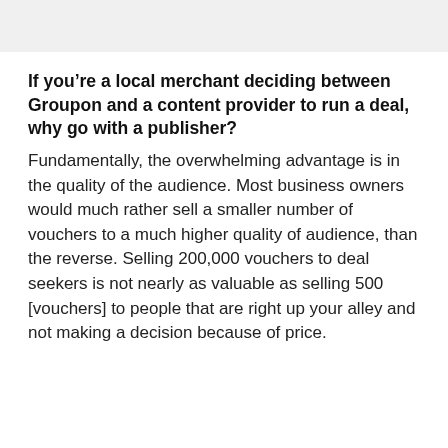If you’re a local merchant deciding between Groupon and a content provider to run a deal, why go with a publisher?
Fundamentally, the overwhelming advantage is in the quality of the audience. Most business owners would much rather sell a smaller number of vouchers to a much higher quality of audience, than the reverse. Selling 200,000 vouchers to deal seekers is not nearly as valuable as selling 500 [vouchers] to people that are right up your alley and not making a decision because of price.